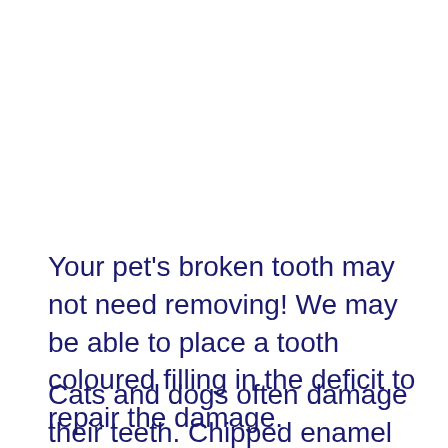Your pet's broken tooth may not need removing! We may be able to place a tooth coloured filling in the deficit to repair the damage.
Cats and dogs often damage their teeth. Chipped enamel exposes the underlying dentine which has a porous